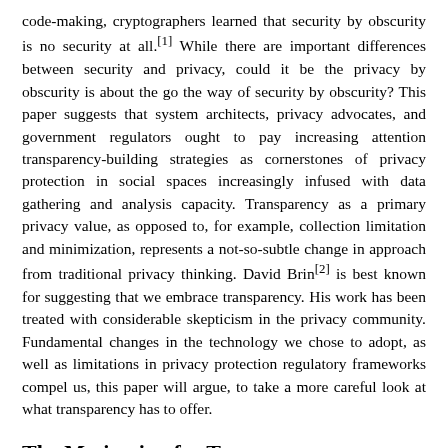code-making, cryptographers learned that security by obscurity is no security at all.[1] While there are important differences between security and privacy, could it be the privacy by obscurity is about the go the way of security by obscurity? This paper suggests that system architects, privacy advocates, and government regulators ought to pay increasing attention transparency-building strategies as cornerstones of privacy protection in social spaces increasingly infused with data gathering and analysis capacity. Transparency as a primary privacy value, as opposed to, for example, collection limitation and minimization, represents a not-so-subtle change in approach from traditional privacy thinking. David Brin[2] is best known for suggesting that we embrace transparency. His work has been treated with considerable skepticism in the privacy community. Fundamental changes in the technology we chose to adopt, as well as limitations in privacy protection regulatory frameworks compel us, this paper will argue, to take a more careful look at what transparency has to offer.
The Motivation for Transparency
Three technical phenomena should encourage privacy-sensitive system designers to rethink their approach to privacy protection: first, the gradual demise of stove-pipe applications in favor of enterprise-wide data integration; second, and the rapidly declining cost of storage; and third, the rapid growth of sensor-...